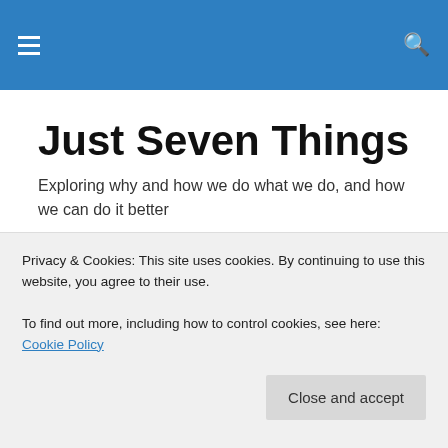Just Seven Things — navigation header
Just Seven Things
Exploring why and how we do what we do, and how we can do it better
TAGGED WITH CREATIVITY
Leadership Traps: Thinking too Fast and Continuing
Privacy & Cookies: This site uses cookies. By continuing to use this website, you agree to their use.
To find out more, including how to control cookies, see here: Cookie Policy
Close and accept